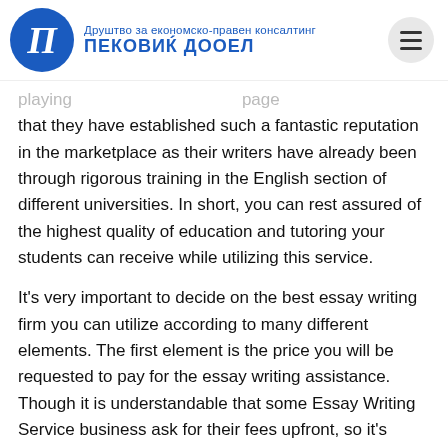Друштво за економско-правен консалтинг ПЕКОВИК ДООЕЛ
…playing … page that they have established such a fantastic reputation in the marketplace as their writers have already been through rigorous training in the English section of different universities. In short, you can rest assured of the highest quality of education and tutoring your students can receive while utilizing this service.
It's very important to decide on the best essay writing firm you can utilize according to many different elements. The first element is the price you will be requested to pay for the essay writing assistance. Though it is understandable that some Essay Writing Service business ask for their fees upfront, so it's highly advisable to look for businesses offering a free trial and evaluation